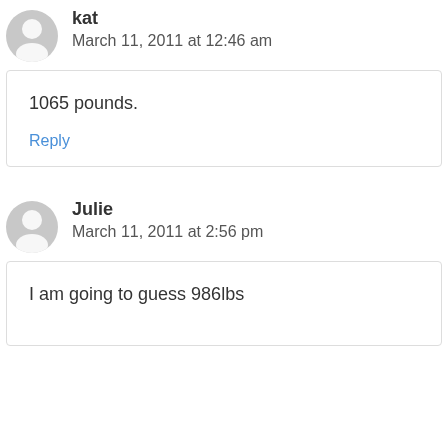kat
March 11, 2011 at 12:46 am
1065 pounds.
Reply
Julie
March 11, 2011 at 2:56 pm
I am going to guess 986lbs